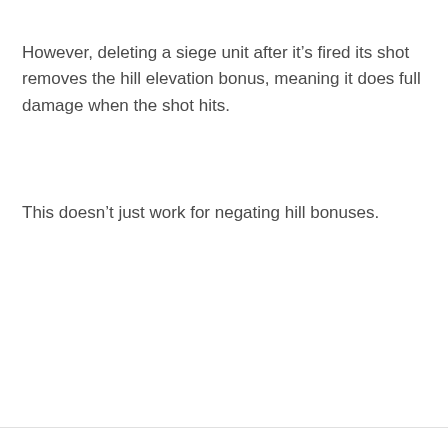However, deleting a siege unit after it’s fired its shot removes the hill elevation bonus, meaning it does full damage when the shot hits.
This doesn’t just work for negating hill bonuses.